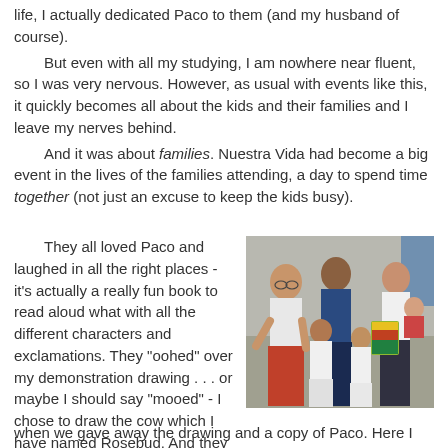life, I actually dedicated Paco to them (and my husband of course).
    But even with all my studying, I am nowhere near fluent, so I was very nervous. However, as usual with events like this, it quickly becomes all about the kids and their families and I leave my nerves behind.
    And it was about families. Nuestra Vida had become a big event in the lives of the families attending, a day to spend time together (not just an excuse to keep the kids busy).
    They all loved Paco and laughed in all the right places - it's actually a really fun book to read aloud what with all the different characters and exclamations. They "oohed" over my demonstration drawing . . . or maybe I should say "mooed" - I chose to draw the cow which I have named Rosebud. And they were incredibly appreciative when we gave away the drawing and a copy of Paco. Here I
[Figure (photo): A family photo showing a woman with glasses in white top and red skirt, a man in navy blue t-shirt, a woman in white top holding a baby, and two children in white tops, one holding a colorful book (Paco).]